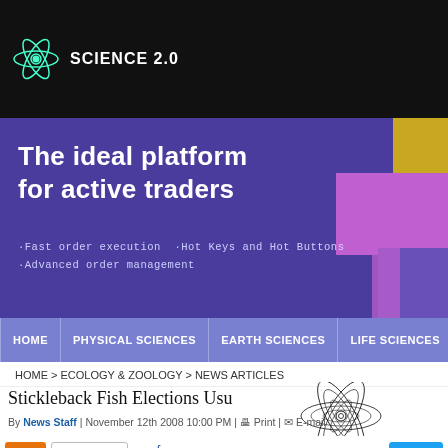SCIENCE 2.0
[Figure (screenshot): Advertisement banner: 'The ideal platform for active traders' with bullet points about Fast order execution, Hot Keys and Hot Buttons, Advanced order management on purple background with geometric accent shapes]
HOME | PHYSICAL SCIENCES | EARTH SCIENCES | LIFE SCIENCES | MEDICINE
HOME > ECOLOGY & ZOOLOGY > NEWS ARTICLES
[Figure (logo): Scientific Blogging Science 2.0 logo — atom-like circular ornament above the text SCIENTIFIC BLOGGING SCIENCE 2.0]
Stickleback Fish Elections Usually Come Down T
By News Staff | November 12th 2008 10:00 PM | Print | E-mail
Share / Save | Tweet